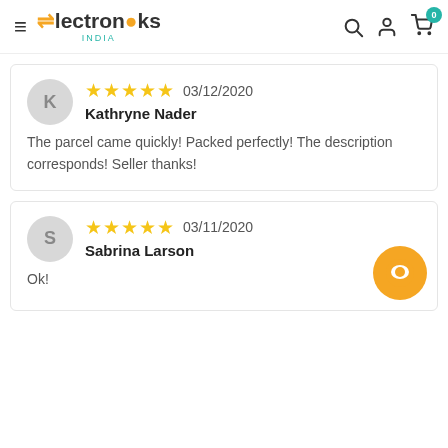Electroniks India
★★★★★ 03/12/2020 Kathryne Nader — The parcel came quickly! Packed perfectly! The description corresponds! Seller thanks!
★★★★★ 03/11/2020 Sabrina Larson — Ok!